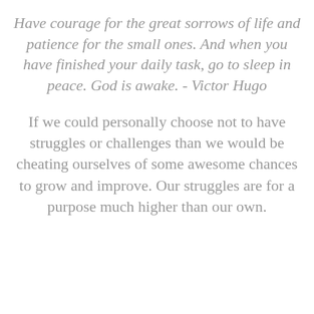Have courage for the great sorrows of life and patience for the small ones. And when you have finished your daily task, go to sleep in peace. God is awake. - Victor Hugo
If we could personally choose not to have struggles or challenges than we would be cheating ourselves of some awesome chances to grow and improve. Our struggles are for a purpose much higher than our own.